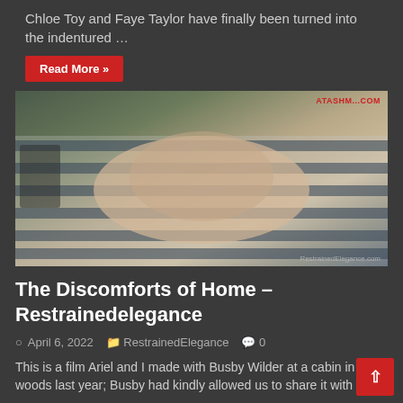Chloe Toy and Faye Taylor have finally been turned into the indentured …
Read More »
[Figure (photo): Photo of a person on a striped couch/sofa, with watermarks reading 'ATASHM...' in red top-right and 'RestrainedElegance.com' bottom-right]
The Discomforts of Home – Restrainedelegance
April 6, 2022   RestrainedElegance   0
This is a film Ariel and I made with Busby Wilder at a cabin in the woods last year; Busby had kindly allowed us to share it with you!